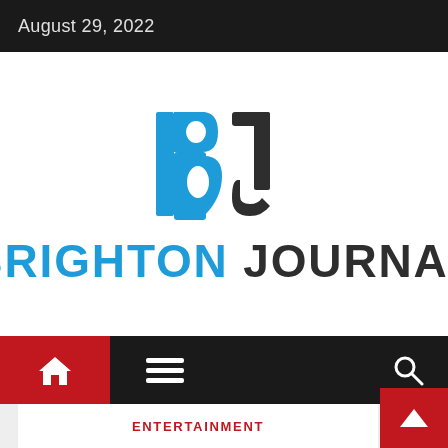August 29, 2022
[Figure (logo): Brighton Journal logo: large stylized 'B' in blue and 'J' in dark gray forming a BJ monogram, with 'BRIGHTON JOURNAL' text below in bold — BRIGHTON in blue, JOURNAL in dark gray]
ENTERTAINMENT